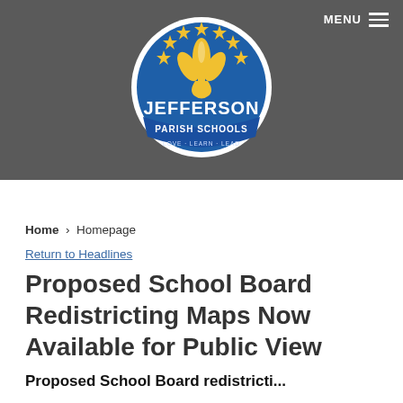[Figure (logo): Jefferson Parish Schools logo — circular blue and gold emblem with fleur-de-lis, stars, and text 'JEFFERSON PARISH SCHOOLS · LOVE · LEARN · LEAD']
MENU
Home > Homepage
Return to Headlines
Proposed School Board Redistricting Maps Now Available for Public View
Proposed School Board redistricti...